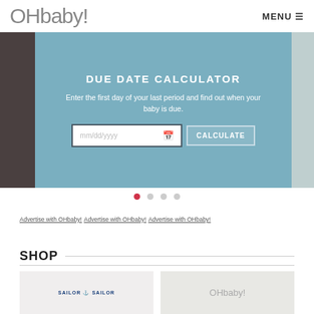[Figure (logo): OHbaby! logo in grey text, large sans-serif font]
MENU ≡
[Figure (screenshot): Blue-grey banner with due date calculator widget. Title: DUE DATE CALCULATOR. Description: Enter the first day of your last period and find out when your baby is due. Date input field with mm/dd/yyyy placeholder and a CALCULATE button.]
Advertise with OHbaby!  Advertise with OHbaby!  Advertise with OHbaby!
SHOP
[Figure (logo): SAILOR SAILOR logo in dark blue]
[Figure (logo): OHbaby! logo in grey]